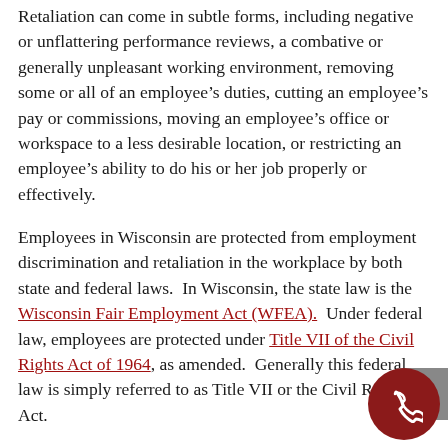Retaliation can come in subtle forms, including negative or unflattering performance reviews, a combative or generally unpleasant working environment, removing some or all of an employee's duties, cutting an employee's pay or commissions, moving an employee's office or workspace to a less desirable location, or restricting an employee's ability to do his or her job properly or effectively.
Employees in Wisconsin are protected from employment discrimination and retaliation in the workplace by both state and federal laws.  In Wisconsin, the state law is the Wisconsin Fair Employment Act (WFEA).  Under federal law, employees are protected under Title VII of the Civil Rights Act of 1964, as amended.  Generally this federal law is simply referred to as Title VII or the Civil Rights Act.
Retaliation Under WFEA & Title VII